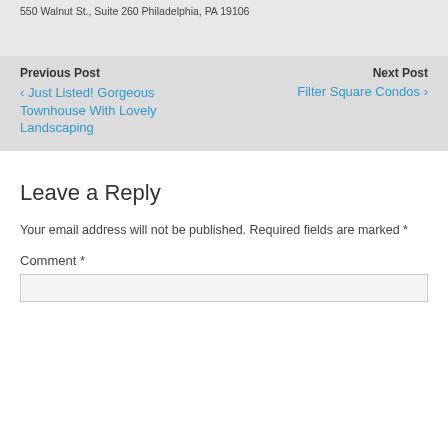550 Walnut St., Suite 260 Philadelphia, PA 19106
Previous Post
‹ Just Listed! Gorgeous Townhouse With Lovely Landscaping
Next Post
Filter Square Condos ›
Leave a Reply
Your email address will not be published. Required fields are marked *
Comment *